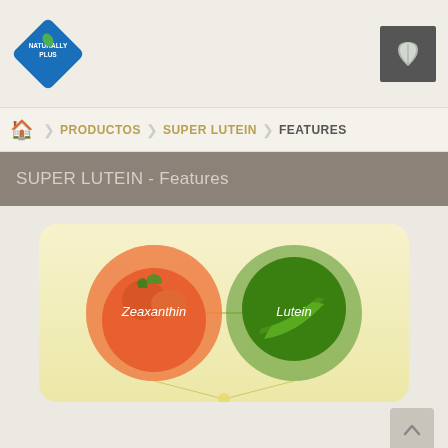Naturally Plus logo and leaf icon header
PRODUCTOS > SUPER LUTEIN > FEATURES
SUPER LUTEIN - Features
[Figure (infographic): Yellow rounded-rectangle card showing two circular images connected by a line: left circle shows an orange persimmon/tomato labeled 'Zeaxanthin', right circle shows green leafy herb labeled 'Lutein']